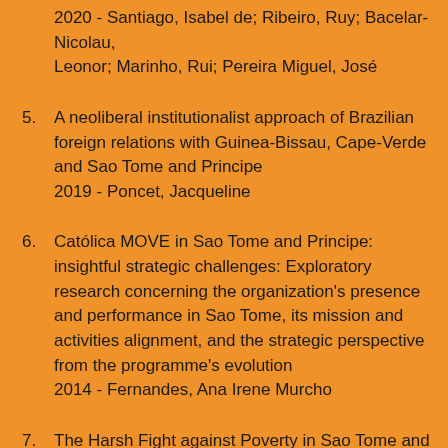2020 - Santiago, Isabel de; Ribeiro, Ruy; Bacelar-Nicolau, Leonor; Marinho, Rui; Pereira Miguel, José
5. A neoliberal institutionalist approach of Brazilian foreign relations with Guinea-Bissau, Cape-Verde and Sao Tome and Principe
2019 - Poncet, Jacqueline
6. Católica MOVE in Sao Tome and Principe: insightful strategic challenges: Exploratory research concerning the organization's presence and performance in Sao Tome, its mission and activities alignment, and the strategic perspective from the programme's evolution
2014 - Fernandes, Ana Irene Murcho
7. The Harsh Fight against Poverty in Sao Tome and Principe
2009 - Nascimento, Augusto